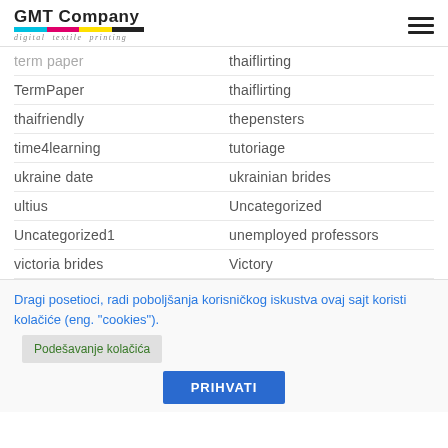GMT Company — digital textile printing
term paper | thaiflirting
TermPaper | thaiflirting
thaifriendly | thepensters
time4learning | tutoriage
ukraine date | ukrainian brides
ultius | Uncategorized
Uncategorized1 | unemployed professors
victoria brides | Victory
Dragi posetioci, radi poboljšanja korisničkog iskustva ovaj sajt koristi kolačiće (eng. "cookies").
Podešavanje kolačića
PRIHVATI